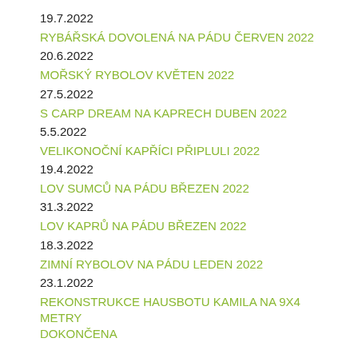19.7.2022
RYBÁŘSKÁ DOVOLENÁ NA PÁDU ČERVEN 2022
20.6.2022
MOŘSKÝ RYBOLOV KVĚTEN 2022
27.5.2022
S CARP DREAM NA KAPRECH DUBEN 2022
5.5.2022
VELIKONOČNÍ KAPŘÍCI PŘIPLULI 2022
19.4.2022
LOV SUMCŮ NA PÁDU BŘEZEN 2022
31.3.2022
LOV KAPRŮ NA PÁDU BŘEZEN 2022
18.3.2022
ZIMNÍ RYBOLOV NA PÁDU LEDEN 2022
23.1.2022
REKONSTRUKCE HAUSBOTU KAMILA NA 9X4 METRY DOKONČENA